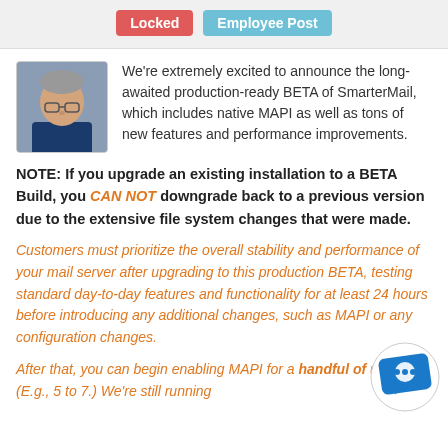Locked | Employee Post
We’re extremely excited to announce the long-awaited production-ready BETA of SmarterMail, which includes native MAPI as well as tons of new features and performance improvements.
NOTE: If you upgrade an existing installation to a BETA Build, you CAN NOT downgrade back to a previous version due to the extensive file system changes that were made.
Customers must prioritize the overall stability and performance of your mail server after upgrading to this production BETA, testing standard day-to-day features and functionality for at least 24 hours before introducing any additional changes, such as MAPI or any configuration changes.
After that, you can begin enabling MAPI for a handful of users. (E.g., 5 to 7.) We’re still running